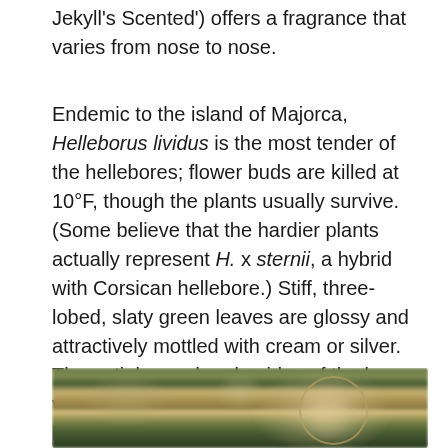Jekyll's Scented') offers a fragrance that varies from nose to nose.
Endemic to the island of Majorca, Helleborus lividus is the most tender of the hellebores; flower buds are killed at 10°F, though the plants usually survive. (Some believe that the hardier plants actually represent H. x sternii, a hybrid with Corsican hellebore.) Stiff, three-lobed, slaty green leaves are glossy and attractively mottled with cream or silver. The petioles and undersides of the leaves vary from rosy red to green. Outfacing, bowl-to saucer-like flowers are rose pink to madder, or occasionally silver green. Flowers widen and flatten as they age.
[Figure (photo): A blurry close-up photograph of hellebore flowers and foliage in muted greens, tans, and browns, with a circular highlighted region on the right side.]